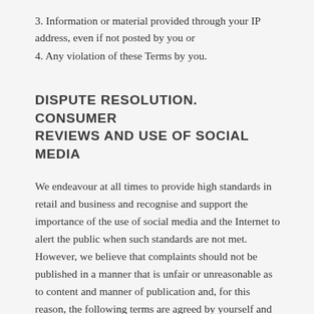3. Information or material provided through your IP address, even if not posted by you or
4. Any violation of these Terms by you.
DISPUTE RESOLUTION. CONSUMER REVIEWS AND USE OF SOCIAL MEDIA
We endeavour at all times to provide high standards in retail and business and recognise and support the importance of the use of social media and the Internet to alert the public when such standards are not met. However, we believe that complaints should not be published in a manner that is unfair or unreasonable as to content and manner of publication and, for this reason, the following terms are agreed by yourself and ourselves to regulate how to proceed when you feel that reasonable standards have not been met.
If you post any comment on our service or products on any website other than the Business's website, you agree that:-